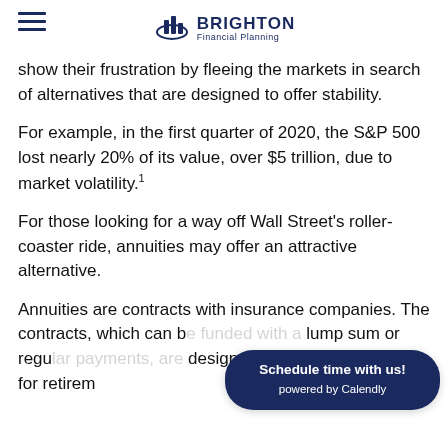Brighton Financial Planning
show their frustration by fleeing the markets in search of alternatives that are designed to offer stability.
For example, in the first quarter of 2020, the S&P 500 lost nearly 20% of its value, over $5 trillion, due to market volatility.¹
For those looking for a way off Wall Street's roller-coaster ride, annuities may offer an attractive alternative.
Annuities are contracts with insurance companies. The contracts, which can be funded with a lump sum or through regu... designed as financial vehicles for retirement